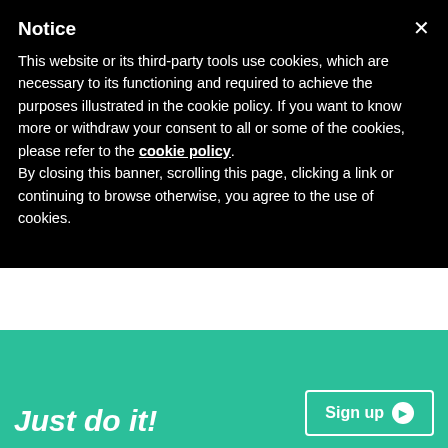Notice
This website or its third-party tools use cookies, which are necessary to its functioning and required to achieve the purposes illustrated in the cookie policy. If you want to know more or withdraw your consent to all or some of the cookies, please refer to the cookie policy. By closing this banner, scrolling this page, clicking a link or continuing to browse otherwise, you agree to the use of cookies.
Just do it!
Sign up